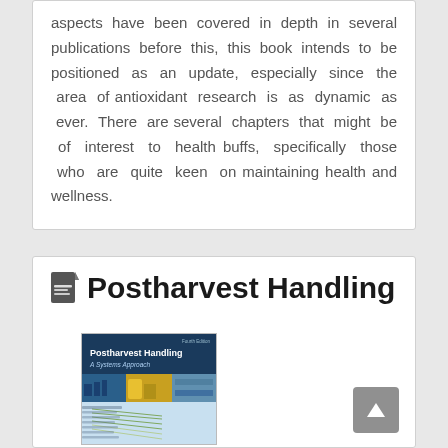aspects have been covered in depth in several publications before this, this book intends to be positioned as an update, especially since the area of antioxidant research is as dynamic as ever. There are several chapters that might be of interest to health buffs, specifically those who are quite keen on maintaining health and wellness.
Postharvest Handling
[Figure (photo): Book cover of 'Postharvest Handling: A Systems Approach' (Fourth Edition) showing a dark navy blue cover with images of ships, a yellow building, a highway, and other scenes, plus a diagram with lines on a light blue lower portion.]